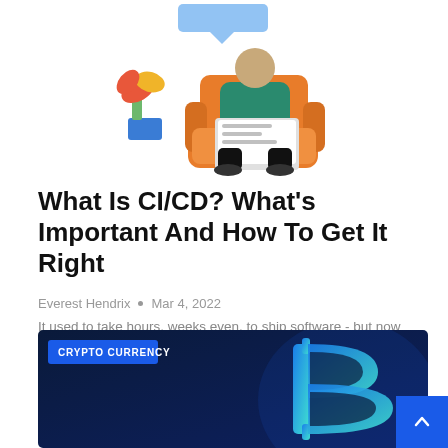[Figure (illustration): Illustration of a person sitting in an orange armchair using a laptop, with decorative plants and a blue chat bubble above]
What Is CI/CD? What's Important And How To Get It Right
Everest Hendrix • Mar 4, 2022
It used to take hours, weeks even, to ship software - but now companies are doing it in a matter of minutes....
READ MORE...
[Figure (photo): Dark blue background with a glowing blue Bitcoin symbol (B with two vertical lines), with a 'CRYPTO CURRENCY' label badge in the top left]